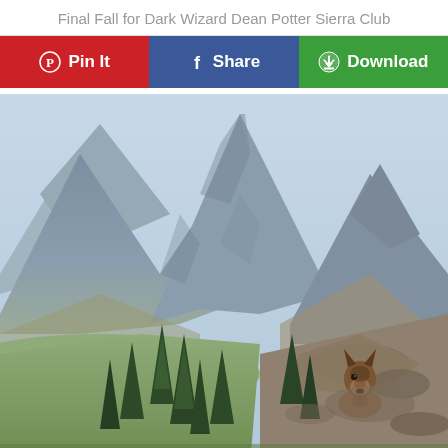Final Fall for Dark Wizard Dean Potter Sierra Club
[Figure (other): Three social sharing buttons: Pin It (red, Pinterest), Share (blue, Facebook), Download (green, with download icon)]
[Figure (photo): Outdoor mountain landscape photo showing large rocky mountain peaks against a light blue sky, with green alpine meadows, conifer trees in the foreground, and a dog (appears to be a German Shepherd) sitting on rocky terrain in the lower right of the image.]